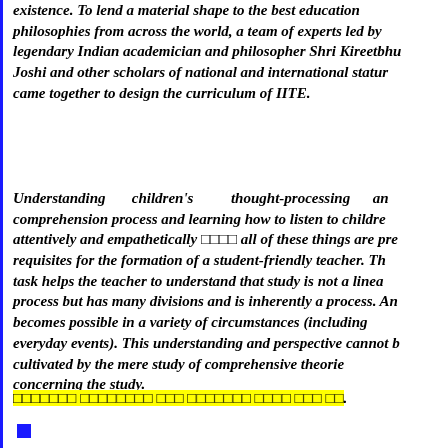existence. To lend a material shape to the best educational philosophies from across the world, a team of experts led by legendary Indian academician and philosopher Shri Kireetbhai Joshi and other scholars of national and international stature came together to design the curriculum of IITE.
Understanding children's thought-processing and comprehension process and learning how to listen to children attentively and empathetically □□□□ all of these things are pre-requisites for the formation of a student-friendly teacher. This task helps the teacher to understand that study is not a linear process but has many divisions and is inherently a process. And becomes possible in a variety of circumstances (including everyday events). This understanding and perspective cannot be cultivated by the mere study of comprehensive theories concerning the study.
□□□□□□□ □□□□□□□□ □□□ □□□□□□□ □□□□ □□□ □□.